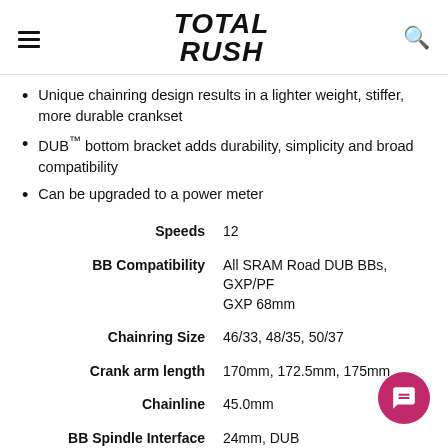TOTAL RUSH
Unique chainring design results in a lighter weight, stiffer, more durable crankset
DUB™ bottom bracket adds durability, simplicity and broad compatibility
Can be upgraded to a power meter
| Spec | Value |
| --- | --- |
| Speeds | 12 |
| BB Compatibility | All SRAM Road DUB BBs, GXP/PF GXP 68mm |
| Chainring Size | 46/33, 48/35, 50/37 |
| Crank arm length | 170mm, 172.5mm, 175mm |
| Chainline | 45.0mm |
| BB Spindle Interface | 24mm, DUB |